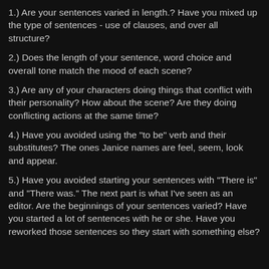1.) Are your sentences varied in length.? Have you mixed up the type of sentences - use of clauses, and over all structure?
2.) Does the length of your sentence, word choice and overall tone match the mood of each scene?
3.) Are any of your characters doing things that conflict with their personality? How about the scene? Are they doing conflicting actions at the same time?
4.) Have you avoided using the "to be" verb and their substitutes? The ones Janice names are feel, seem, look and appear.
5.) Have you avoided starting your sentences with "There is" and "There was." The next part is what I've seen as an editor. Are the beginnings of your sentences varied? Have you started a lot of sentences with he or she. Have you reworked those sentences so they start with something else?